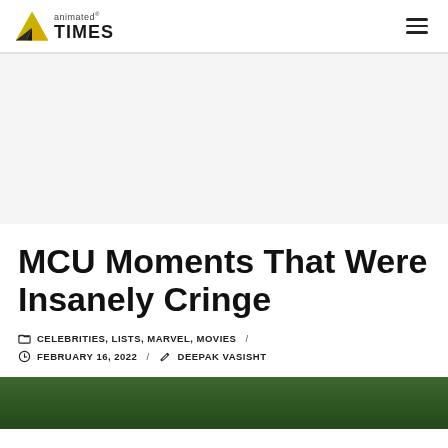animated® TIMES
[Figure (other): Advertisement banner area (gray background)]
MCU Moments That Were Insanely Cringe
CELEBRITIES, LISTS, MARVEL, MOVIES / FEBRUARY 16, 2022 / DEEPAK VASISHT
[Figure (photo): Thumbnail image strip at bottom of page]